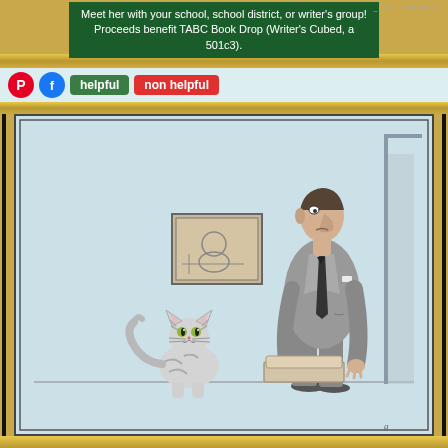Meet her with your school, school district, or writer's group! Proceeds benefit TABC Book Drop (Writer's Cubed, a 501c3).
[Figure (screenshot): Social media sharing bar with Pinterest (red circle P), Facebook (blue circle f), green 'helpful' button, and red 'non helpful' button]
[Figure (illustration): New Yorker style cartoon showing a man in a business suit looking down at a cat sitting on the floor next to a litter box. A framed picture hangs on the wall in the background. The cartoon is rendered in grayscale with light blue tint background.]